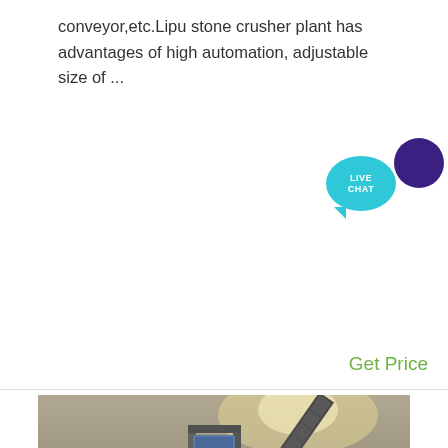conveyor,etc.Lipu stone crusher plant has advantages of high automation, adjustable size of ...
[Figure (other): Live Chat speech bubble icon with teal and dark purple circles]
Get Price
[Figure (photo): Photograph of a stone crusher plant (ACRUSHER mining equipment) showing industrial machinery, conveyor belts, steel framework, and crusher components at a mine site. The ACRUSHER logo and MINING EQUIPMENT text visible at the bottom.]